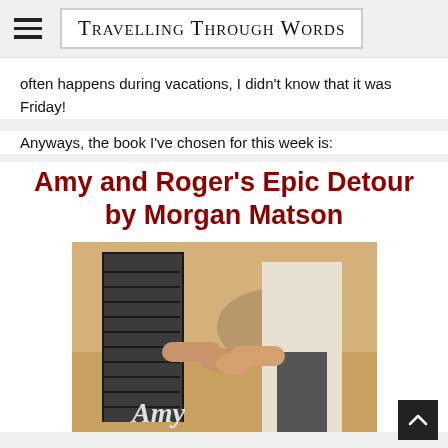Travelling Through Words
often happens during vacations, I didn't know that it was Friday!
Anyways, the book I've chosen for this week is:
Amy and Roger's Epic Detour by Morgan Matson
[Figure (photo): Book cover of Amy and Roger's Epic Detour by Morgan Matson showing two people holding hands with a desert landscape background, script text 'Amy' visible at the bottom]